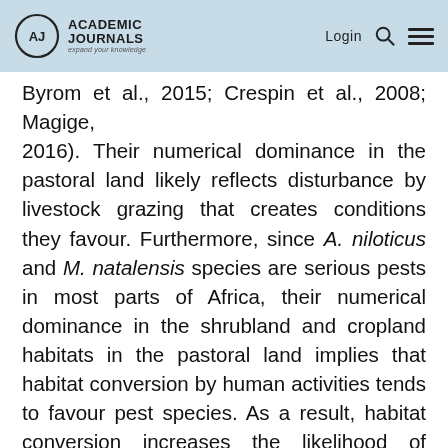Academic Journals — Login
Byrom et al., 2015; Crespin et al., 2008; Magige, 2016). Their numerical dominance in the pastoral land likely reflects disturbance by livestock grazing that creates conditions they favour. Furthermore, since A. niloticus and M. natalensis species are serious pests in most parts of Africa, their numerical dominance in the shrubland and cropland habitats in the pastoral land implies that habitat conversion by human activities tends to favour pest species. As a result, habitat conversion increases the likelihood of destruction of crops and other properties. It is noteworthy